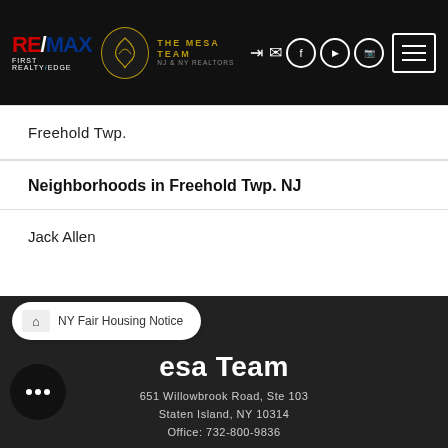RE/MAX FIRST REALTY/EDGE — The Mesa Team
Freehold Twp.
Neighborhoods in Freehold Twp. NJ
Jack Allen
The Mesa Team
651 Willowbrook Road, Ste 103
Staten Island, NY 10314
Office: 732-800-9836